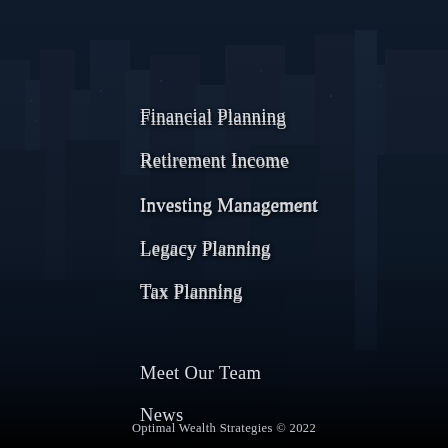[Figure (photo): Aerial/overhead dark cityscape photo of urban skyscrapers at night or dusk, heavily darkened with a blue-black overlay. Buildings and city blocks visible in muted tones.]
Financial Planning
Retirement Income
Investing Management
Legacy Planning
Tax Planning
Meet Our Team
News
Client Corner
Optimal Wealth Strategies © 2022